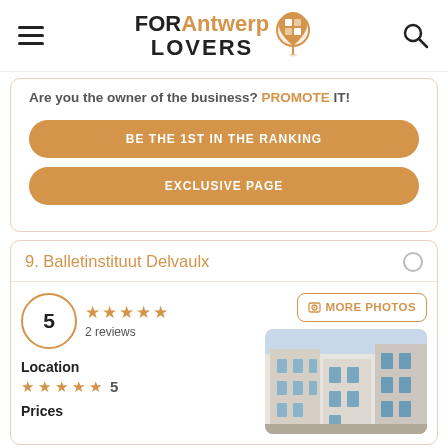FOR Antwerp LOVERS
Are you the owner of the business? PROMOTE IT!
BE THE 1ST IN THE RANKING
EXCLUSIVE PAGE
9. Balletinstituut Delvaulx
5 ★★★★★ 2 reviews
MORE PHOTOS
Location
★★★★★ 5
Prices